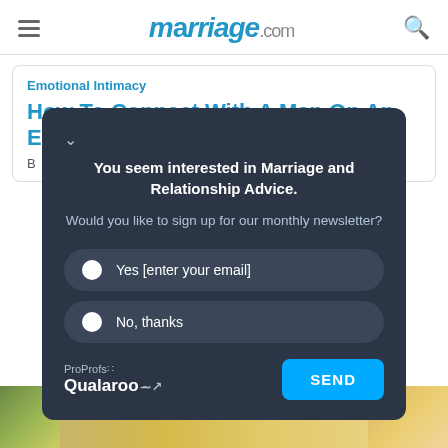marriage.com
Emotional Intimacy
How To Connect With A Man On An E
B
You seem interested in Marriage and Relationship Advice.

Would you like to sign up for our monthly newsletter?

Yes [enter your email]
No, thanks
[Figure (screenshot): Newsletter signup popup from Qualaroo on marriage.com with two radio button options and a SEND button]